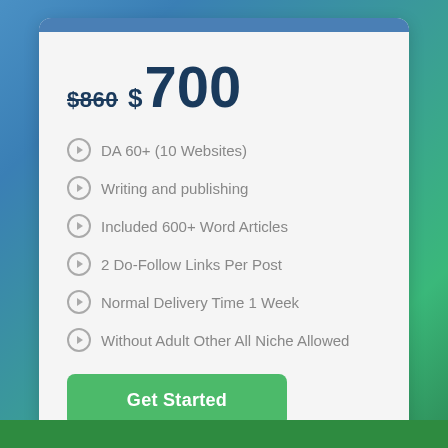$860 $700
DA 60+ (10 Websites)
Writing and publishing
Included 600+ Word Articles
2 Do-Follow Links Per Post
Normal Delivery Time 1 Week
Without Adult Other All Niche Allowed
Get Started